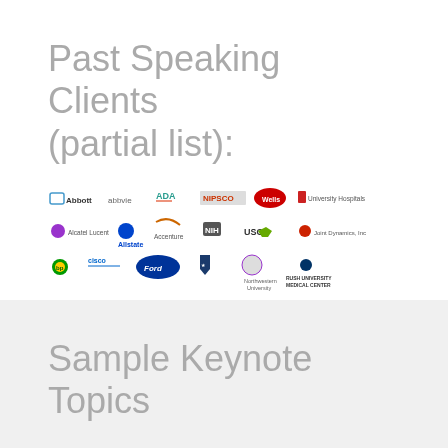Past Speaking Clients (partial list):
[Figure (logo): Grid of company logos including Abbott, AbbVie, ADA, NIPSCO, Wells Fargo, University Hospitals, Alcatel-Lucent, Allstate, Accenture, NIH, USG, Joint Dynamics Inc, BP, Cisco, Ford, Northwestern University, Rush University Medical Center]
Sample Keynote Topics